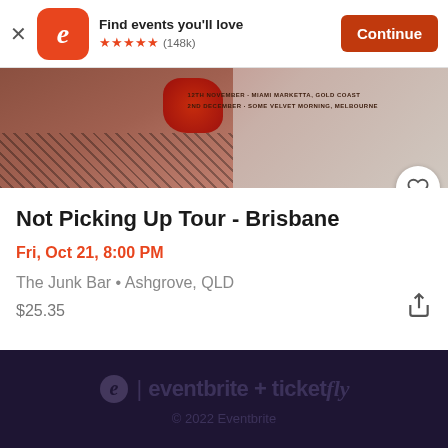[Figure (screenshot): App install banner with Eventbrite logo, star rating, and Continue button]
[Figure (photo): Event promotional image showing person with red sparkly bag and fishnet stockings, with text listing tour dates]
Not Picking Up Tour - Brisbane
Fri, Oct 21, 8:00 PM
The Junk Bar • Ashgrove, QLD
$25.35
eventbrite + ticketfly
© 2022 Eventbrite